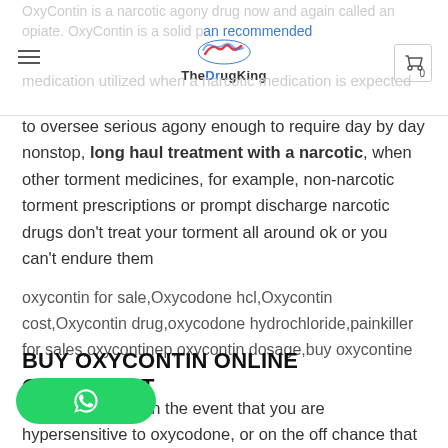TheDrugKing
OxyContin is a narcotic agony drug now and again called an opiate. OxyContin is a solid pain recommended medication utilized when a narcotic medication is expected to oversee serious agony enough to require day by day nonstop, long haul treatment with a narcotic, when other torment medicines, for example, non-narcotic torment prescriptions or prompt discharge narcotic drugs don't treat your torment all around ok or you can't endure them
oxycontin for sale,Oxycodone hcl,Oxycontin cost,Oxycontin drug,oxycodone hydrochloride,painkiller for sales,oxycontinер,oxycontin dosage,buy oxycontine
BUY OXYCONTIN ONLINE OVERNIGHT
Use OxyContin in the event that you are hypersensitive to oxycodone, or on the off chance that you have: